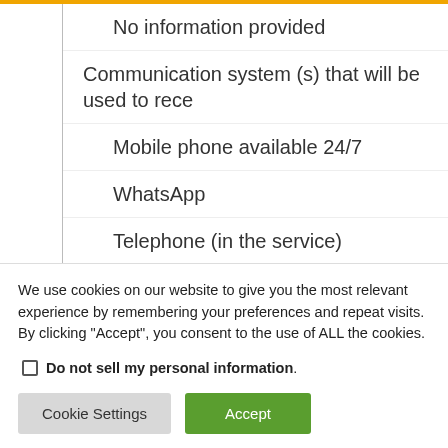No information provided
Communication system (s) that will be used to rece
Mobile phone available 24/7
WhatsApp
Telephone (in the service)
Email
Otherᵃ
Designated focal point person identified in the servi
We use cookies on our website to give you the most relevant experience by remembering your preferences and repeat visits. By clicking “Accept”, you consent to the use of ALL the cookies.
Do not sell my personal information.